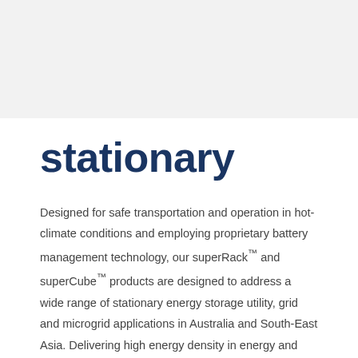stationary
Designed for safe transportation and operation in hot-climate conditions and employing proprietary battery management technology, our superRack™ and superCube™ products are designed to address a wide range of stationary energy storage utility, grid and microgrid applications in Australia and South-East Asia. Delivering high energy density in energy and